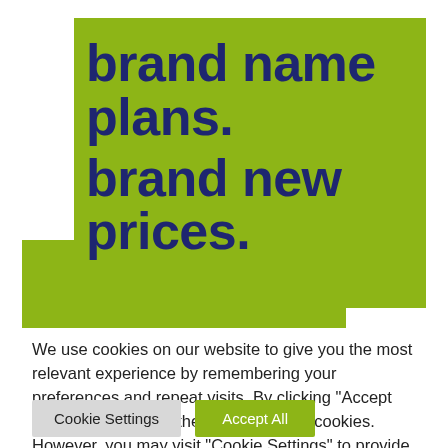[Figure (illustration): Promotional banner with lime green background showing bold dark navy blue text: 'brand name plans. brand new prices.' The text is large and bold. The green block is offset with one section shifted left for the bottom lines.]
We use cookies on our website to give you the most relevant experience by remembering your preferences and repeat visits. By clicking "Accept All", you consent to the use of ALL the cookies. However, you may visit "Cookie Settings" to provide a controlled consent.
Cookie Settings
Accept All